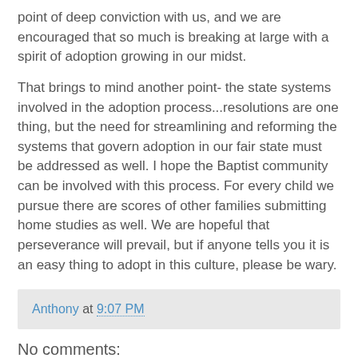point of deep conviction with us, and we are encouraged that so much is breaking at large with a spirit of adoption growing in our midst.
That brings to mind another point- the state systems involved in the adoption process...resolutions are one thing, but the need for streamlining and reforming the systems that govern adoption in our fair state must be addressed as well. I hope the Baptist community can be involved with this process. For every child we pursue there are scores of other families submitting home studies as well. We are hopeful that perseverance will prevail, but if anyone tells you it is an easy thing to adopt in this culture, please be wary.
Anthony at 9:07 PM
No comments:
Post a Comment
Remember, have only one comment to...